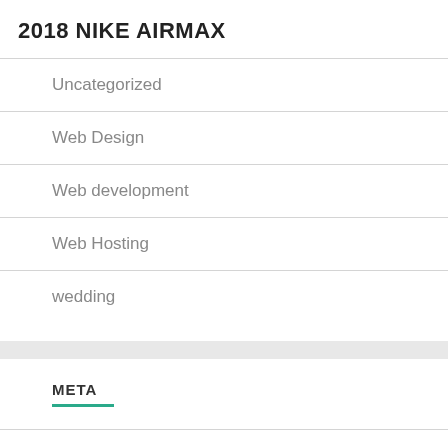2018 NIKE AIRMAX
Uncategorized
Web Design
Web development
Web Hosting
wedding
META
Log in